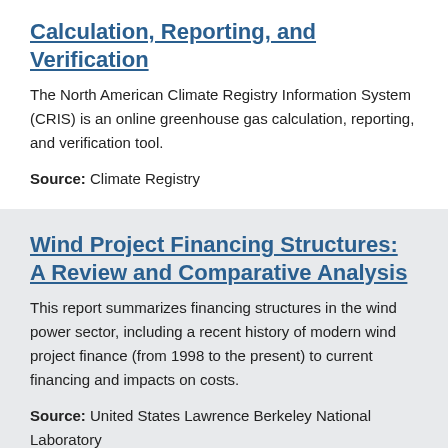Calculation, Reporting, and Verification
The North American Climate Registry Information System (CRIS) is an online greenhouse gas calculation, reporting, and verification tool.
Source: Climate Registry
Wind Project Financing Structures: A Review and Comparative Analysis
This report summarizes financing structures in the wind power sector, including a recent history of modern wind project finance (from 1998 to the present) to current financing and impacts on costs.
Source: United States Lawrence Berkeley National Laboratory